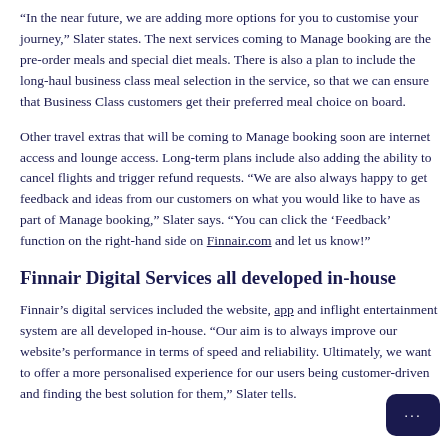"In the near future, we are adding more options for you to customise your journey," Slater states. The next services coming to Manage booking are the pre-order meals and special diet meals. There is also a plan to include the long-haul business class meal selection in the service, so that we can ensure that Business Class customers get their preferred meal choice on board.
Other travel extras that will be coming to Manage booking soon are internet access and lounge access. Long-term plans include also adding the ability to cancel flights and trigger refund requests. "We are also always happy to get feedback and ideas from our customers on what you would like to have as part of Manage booking," Slater says. "You can click the ‘Feedback’ function on the right-hand side on Finnair.com and let us know!"
Finnair Digital Services all developed in-house
Finnair’s digital services included the website, app and inflight entertainment system are all developed in-house. “Our aim is to always improve our website’s performance in terms of speed and reliability. Ultimately, we want to offer a more personalised experience for our users being customer-driven and finding the best solution for them,” Slater tells.